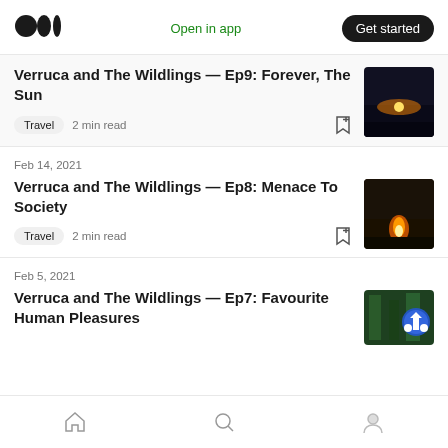Medium logo | Open in app | Get started
Verruca and The Wildlings — Ep9: Forever, The Sun
Travel  2 min read
Feb 14, 2021
Verruca and The Wildlings — Ep8: Menace To Society
Travel  2 min read
Feb 5, 2021
Verruca and The Wildlings — Ep7: Favourite Human Pleasures
Home | Search | Profile